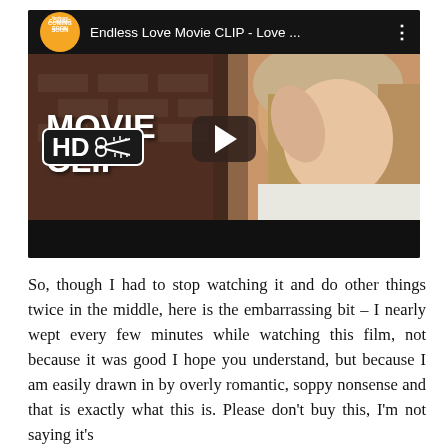[Figure (screenshot): YouTube video thumbnail for 'Endless Love Movie CLIP - Love ...' showing a young blonde woman smiling, with overlay text 'MOVIE CLIP' and 'HD' badge with scissors icon, a play button in the center, and a Coming Soon badge in the top left corner.]
So, though I had to stop watching it and do other things twice in the middle, here is the embarrassing bit – I nearly wept every few minutes while watching this film, not because it was good I hope you understand, but because I am easily drawn in by overly romantic, soppy nonsense and that is exactly what this is. Please don't buy this, I'm not saying it's